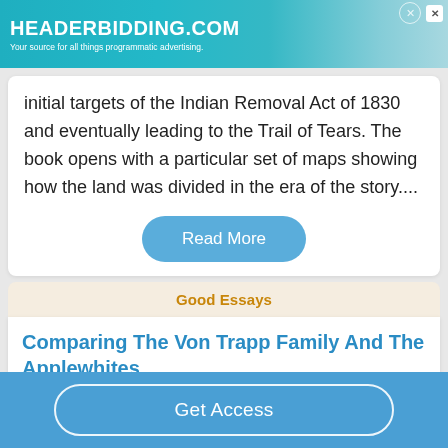[Figure (other): HeaderBidding.com advertisement banner with teal gradient background. Text reads 'HEADERBIDDING.COM — Your source for all things programmatic advertising.']
initial targets of the Indian Removal Act of 1830 and eventually leading to the Trail of Tears. The book opens with a particular set of maps showing how the land was divided in the era of the story....
Read More
Good Essays
Comparing The Von Trapp Family And The Applewhites
Get Access